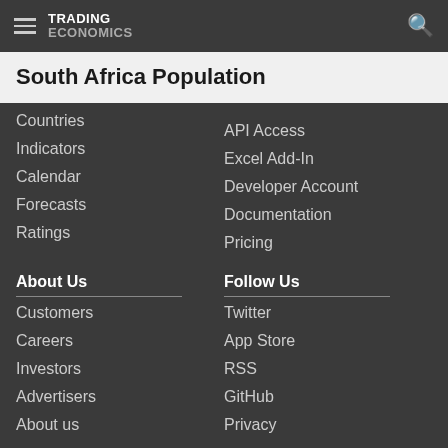TRADING ECONOMICS
South Africa Population
Countries
Indicators
Calendar
Forecasts
Ratings
API Access
Excel Add-In
Developer Account
Documentation
Pricing
About Us
Customers
Careers
Investors
Advertisers
About us
Follow Us
Twitter
App Store
RSS
GitHub
Privacy
Copyright ©2022 TRADING ECONOMICS
All Rights Reserved